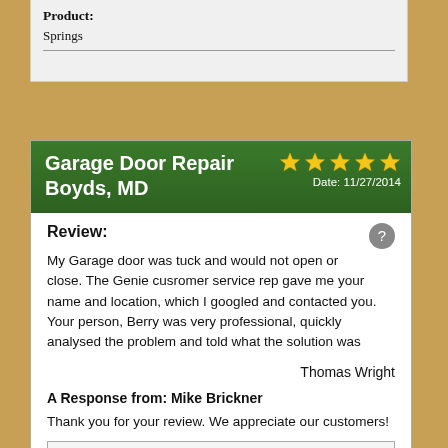Product:
Springs
Garage Door Repair Boyds, MD
Date: 11/27/2014
Review:
My Garage door was tuck and would not open or close. The Genie cusromer service rep gave me your name and location, which I googled and contacted you. Your person, Berry was very professional, quickly analysed the problem and told what the solution was
Thomas Wright
A Response from: Mike Brickner
Thank you for your review. We appreciate our customers!
Service Provided:
Garage Door Repair
Product: